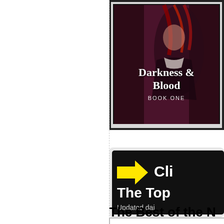[Figure (illustration): Book cover for 'Darkness & Blood, Book One' — dark fantasy art featuring a female figure with red hair in a dark atmospheric setting. White border frame around the cover art. Title text reads 'Darkness & Blood' with subtitle 'BOOK ONE'.]
[Figure (infographic): Black button/banner with yellow right-pointing arrow icon and white text reading 'Cli...' and 'The Top...' and 'Updated dai...' — a call-to-action button partially cropped on the right side.]
The Best of the N...